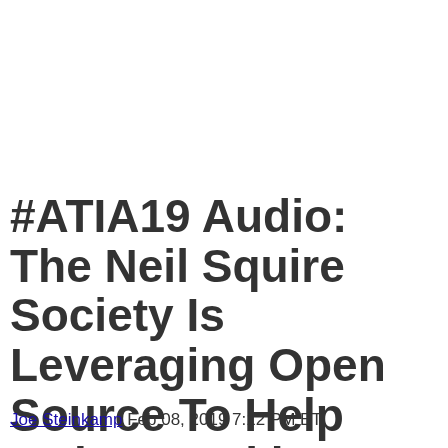#ATIA19 Audio: The Neil Squire Society Is Leveraging Open Source To Help Makers Making Change
Joe Steinkamp Feb 08, 2019 7:12 PM ET